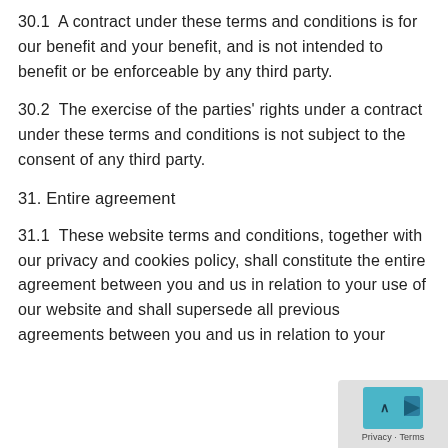30.1  A contract under these terms and conditions is for our benefit and your benefit, and is not intended to benefit or be enforceable by any third party.
30.2  The exercise of the parties' rights under a contract under these terms and conditions is not subject to the consent of any third party.
31. Entire agreement
31.1  These website terms and conditions, together with our privacy and cookies policy, shall constitute the entire agreement between you and us in relation to your use of our website and shall supersede all previous agreements between you and us in relation to your